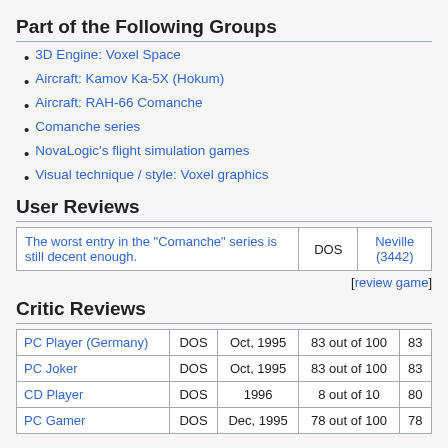Part of the Following Groups
3D Engine: Voxel Space
Aircraft: Kamov Ka-5X (Hokum)
Aircraft: RAH-66 Comanche
Comanche series
NovaLogic's flight simulation games
Visual technique / style: Voxel graphics
User Reviews
| Review | Platform | Reviewer |
| --- | --- | --- |
| The worst entry in the "Comanche" series is still decent enough. | DOS | Neville (3442) |
[review game]
Critic Reviews
| Publication | Platform | Date | Score | Normalized |
| --- | --- | --- | --- | --- |
| PC Player (Germany) | DOS | Oct, 1995 | 83 out of 100 | 83 |
| PC Joker | DOS | Oct, 1995 | 83 out of 100 | 83 |
| CD Player | DOS | 1996 | 8 out of 10 | 80 |
| PC Gamer | DOS | Dec, 1995 | 78 out of 100 | 78 |